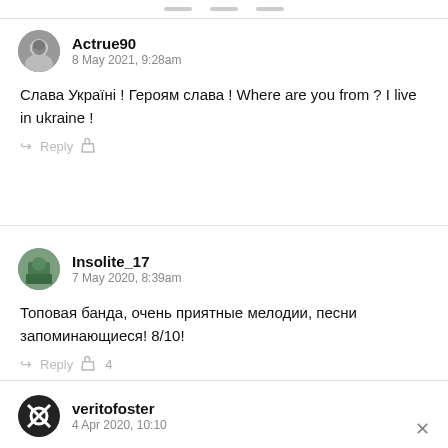Actrue90
8 May 2021, 9:28am

Слава Україні ! Героям слава ! Where are you from ? I live in ukraine !

Reply [like]
Insolite_17
7 May 2020, 8:39am

Топовая банда, очень приятные мелодии, песни запоминающиеся! 8/10!

Reply [like] 4
veritofoster
4 Apr 2020, 10:10